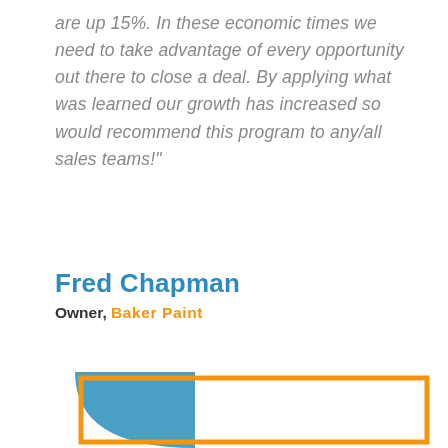are up 15%. In these economic times we need to take advantage of every opportunity out there to close a deal. By applying what was learned our growth has increased so would recommend this program to any/all sales teams!"
Fred Chapman
Owner, Baker Paint
[Figure (illustration): Decorative graphic element: blue rectangle background on left with orange rounded-corner border box overlay, suggesting a testimonial card frame or decorative footer element.]